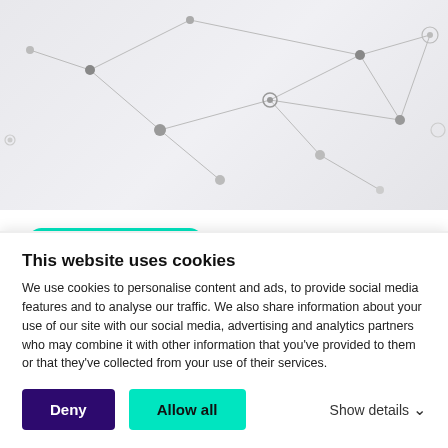[Figure (illustration): Network graph background with connected nodes and edges on a light grey gradient background]
Omnichannel Strategies
4 Ways to Nail Your Omnichannel Strategy
This website uses cookies
We use cookies to personalise content and ads, to provide social media features and to analyse our traffic. We also share information about your use of our site with our social media, advertising and analytics partners who may combine it with other information that you've provided to them or that they've collected from your use of their services.
Deny
Allow all
Show details